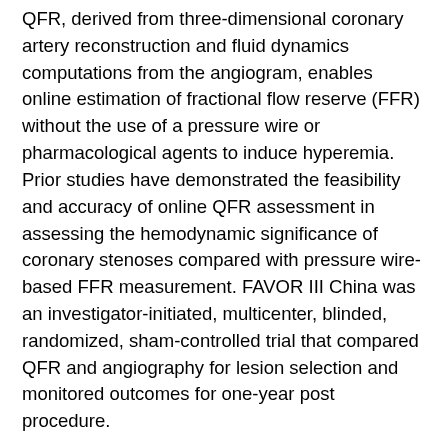QFR, derived from three-dimensional coronary artery reconstruction and fluid dynamics computations from the angiogram, enables online estimation of fractional flow reserve (FFR) without the use of a pressure wire or pharmacological agents to induce hyperemia. Prior studies have demonstrated the feasibility and accuracy of online QFR assessment in assessing the hemodynamic significance of coronary stenoses compared with pressure wire-based FFR measurement. FAVOR III China was an investigator-initiated, multicenter, blinded, randomized, sham-controlled trial that compared QFR and angiography for lesion selection and monitored outcomes for one-year post procedure.
Patients with stable or unstable angina pectoris or those more than 72 hours post-myocardial infarction who had at least one lesion with a diameter stenosis between 50% and 90% in a coronary artery with a reference vessel diameter of at least 2.5 mm by visual assessment were randomized 1:1 to a QFR-guided strategy (PCI performed only if QFR ≤0.80) or an angiography-guided strategy (PCI based on standard visual angiographic assessment). Between December 2018 and January 2020, 3,825 participants at 26 sites were randomly assigned to QFR-guided